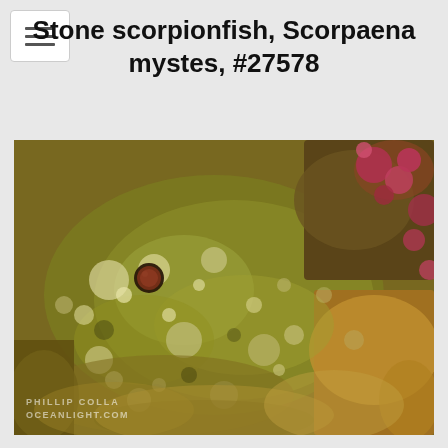≡ (hamburger menu icon)
Stone scorpionfish, Scorpaena mystes, #27578
[Figure (photo): Close-up underwater photograph of a stone scorpionfish (Scorpaena mystes) camouflaged against a rocky reef. The fish is heavily textured and mottled in olive-green, yellow, brown, and white tones, nearly indistinguishable from the surrounding reef. A round reddish-brown eye is visible. Pink coralline algae visible in background. Watermark reads PHILLIP COLLA / OCEANLIGHT.COM.]
PHILLIP COLLA
OCEANLIGHT.COM